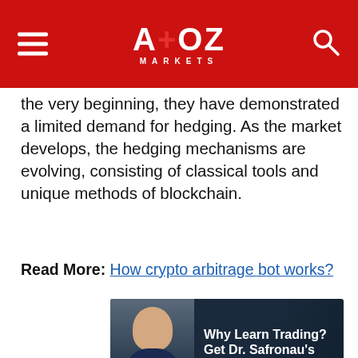A+OZ MARKETS
the very beginning, they have demonstrated a limited demand for hedging. As the market develops, the hedging mechanisms are evolving, consisting of classical tools and unique methods of blockchain.
Read More: How crypto arbitrage bot works?
[Figure (photo): Advertisement banner: Why Learn Trading? Get Dr. Safronau's Signals – SIGN UP button]
[Figure (infographic): Frontgate: Outdoor Furniture | Bedding – 25% off site wide sale going on now at Frontgate.com – frontgate.com]